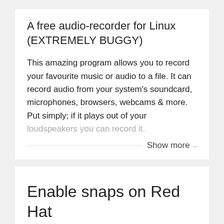A free audio-recorder for Linux (EXTREMELY BUGGY)
This amazing program allows you to record your favourite music or audio to a file. It can record audio from your system's soundcard, microphones, browsers, webcams & more. Put simply; if it plays out of your loudspeakers you can record it.
Show more
Enable snaps on Red Hat Enterprise Linux and